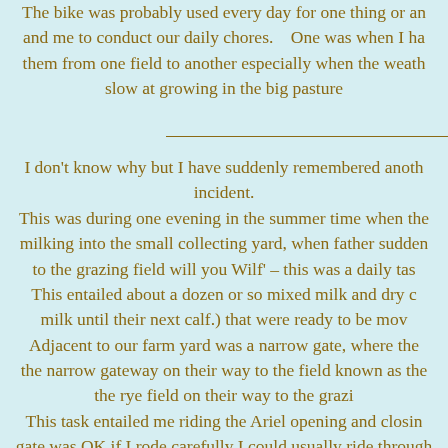The bike was probably used every day for one thing or another and me to conduct our daily chores.    One was when I ha them from one field to another especially when the weath slow at growing in the big pasture
I don't know why but I have suddenly remembered anoth incident. This was during one evening in the summer time when the milking into the small collecting yard, when father sudden to the grazing field will you Wilf' – this was a daily tas This entailed about a dozen or so mixed milk and dry c milk until their next calf.) that were ready to be mov Adjacent to our farm yard was a narrow gate, where the the narrow gateway on their way to the field known as the the rye field on their way to the grazi This task entailed me riding the Ariel opening and closin gate was OK if I rode carefully I could usually ride through down whereas the next couple of gates I had to stop and could close the gates after th Next gate on from the last two, was the